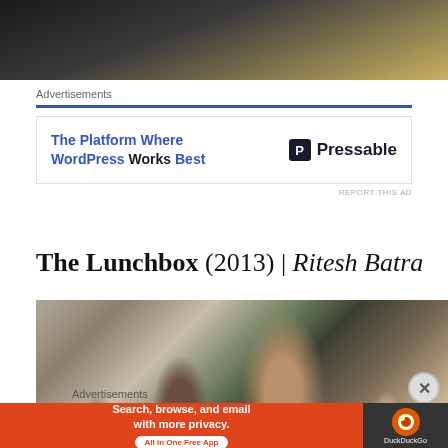[Figure (photo): Top portion of a photo showing two people in dark clothing, partially cropped]
Advertisements
[Figure (screenshot): Advertisement banner: 'The Platform Where WordPress Works Best' with Pressable logo]
REPORT THIS AD
The Lunchbox (2013) | Ritesh Batra
[Figure (photo): A man with glasses looking downward in a crowded office or cafeteria setting, from the film The Lunchbox]
Advertisements
[Figure (screenshot): DuckDuckGo advertisement: 'Search, browse, and email with more privacy. All in One Free App' with DuckDuckGo logo]